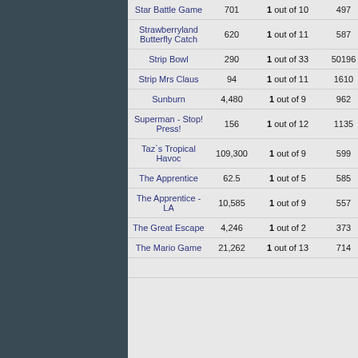| Game | Score | Rank | Col3 | Col4 |
| --- | --- | --- | --- | --- |
| Star Battle Game | 701 | 1 out of 10 | 497 | 506... |
| Strawberryland Butterfly Catch | 620 | 1 out of 11 | 587 | 503... |
| Strip Bowl | 290 | 1 out of 33 | 50196 | 509... |
| Strip Mrs Claus | 94 | 1 out of 11 | 1610 | 511... |
| Sunburn | 4,480 | 1 out of 9 | 962 | 411... |
| Superman - Stop! Press! | 156 | 1 out of 12 | 1135 | 507... |
| Taz`s Tropical Havoc | 109,300 | 1 out of 9 | 599 | 491... |
| The Apprentice | 62.5 | 1 out of 5 | 585 | 411... |
| The Apprentice - LA | 10,585 | 1 out of 9 | 557 | 484... |
| The Great Escape | 4,246 | 1 out of 2 | 373 | 510... |
| The Mario Game | 21,262 | 1 out of 13 | 714 | 513... |